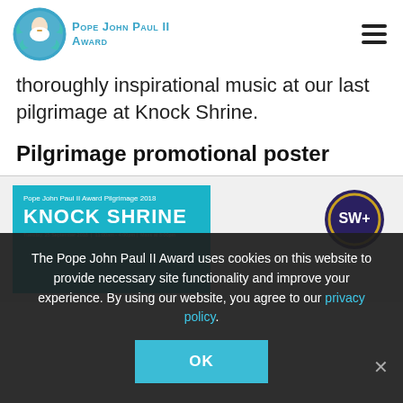Pope John Paul II Award
thoroughly inspirational music at our last pilgrimage at Knock Shrine.
Pilgrimage promotional poster
[Figure (other): Teal promotional poster for Pope John Paul II Award Pilgrimage 2018 at Knock Shrine, Tuesday, 25 September 2018, 11:00am - 4:00pm, Mass at 3:00pm. Alongside a circular SW+ badge/watermark on the right.]
The Pope John Paul II Award uses cookies on this website to provide necessary site functionality and improve your experience. By using our website, you agree to our privacy policy.
OK